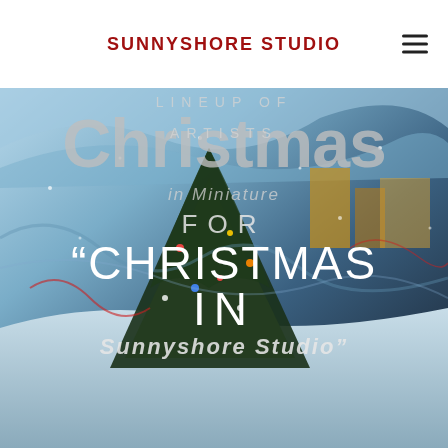SUNNYSHORE STUDIO
[Figure (illustration): Full-bleed background painting of a winter/Christmas scene with a decorated Christmas tree in blue, brown, red and white tones, snow, and buildings in the background]
LINEUP OF ARTISTS for "CHRISTMAS IN Sunnyshore Studio"
Christmas in Miniature